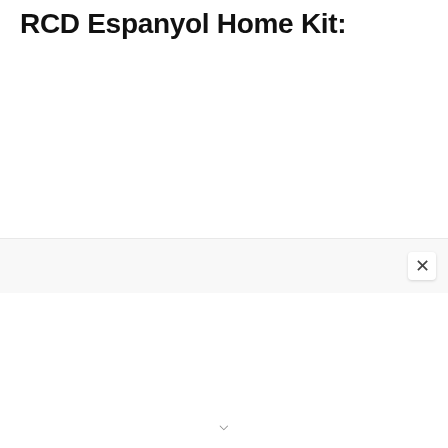RCD Espanyol Home Kit:
URL: https://i.imgur.com/vcoZKjZ.png